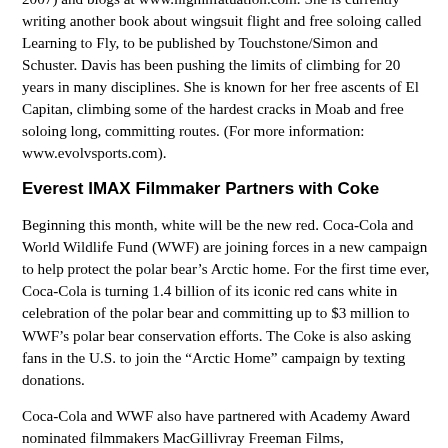2007) and blogs at www.highinfatuation.com. She is currently writing another book about wingsuit flight and free soloing called Learning to Fly, to be published by Touchstone/Simon and Schuster. Davis has been pushing the limits of climbing for 20 years in many disciplines. She is known for her free ascents of El Capitan, climbing some of the hardest cracks in Moab and free soloing long, committing routes. (For more information: www.evolvsports.com).
Everest IMAX Filmmaker Partners with Coke
Beginning this month, white will be the new red. Coca-Cola and World Wildlife Fund (WWF) are joining forces in a new campaign to help protect the polar bear’s Arctic home. For the first time ever, Coca-Cola is turning 1.4 billion of its iconic red cans white in celebration of the polar bear and committing up to $3 million to WWF’s polar bear conservation efforts. The Coke is also asking fans in the U.S. to join the “Arctic Home” campaign by texting donations.
Coca-Cola and WWF also have partnered with Academy Award nominated filmmakers MacGillivray Freeman Films,